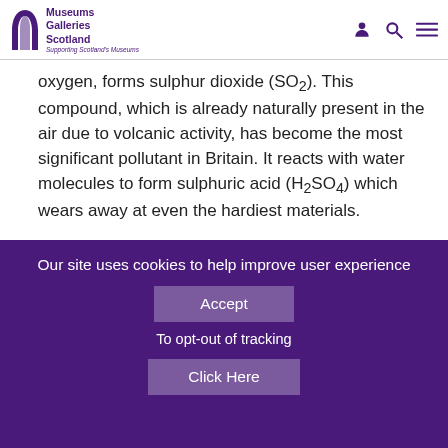Museums Galleries Scotland — Supporting Scotland's Museums
oxygen, forms sulphur dioxide (SO2). This compound, which is already naturally present in the air due to volcanic activity, has become the most significant pollutant in Britain. It reacts with water molecules to form sulphuric acid (H2SO4) which wears away at even the hardiest materials.

Sulphur can also combine with other gases, creating common compounds such as hydrogen
Our site uses cookies to help improve user experience
Accept
To opt-out of tracking
Click Here